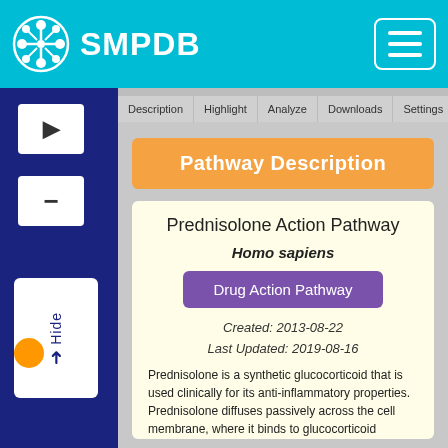[Figure (screenshot): SMPDB database website header with cyan background, logo icon, SMPDB text, and hamburger menu button]
Pathway Description
Prednisolone Action Pathway
Homo sapiens
Drug Action Pathway
Created: 2013-08-22
Last Updated: 2019-08-16
Prednisolone is a synthetic glucocorticoid that is used clinically for its anti-inflammatory properties. Prednisolone diffuses passively across the cell membrane, where it binds to glucocorticoid receptors in the cytoplasm. Upon binding, the glucocorticoid receptor (GR) dissociates from heat shock protein 90, and translocate into the nucleus. In the nucleus, GR dimers can bind to glucocorticoid response element